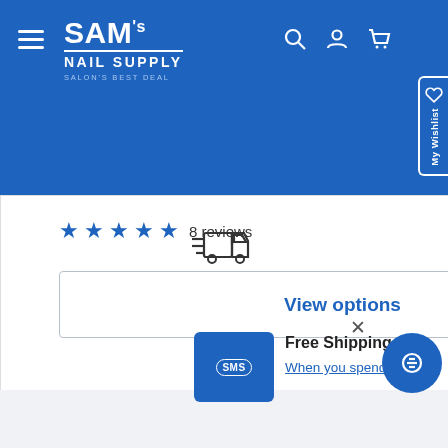SAM's NAIL SUPPLY — SALON'S BEST DEAL
★★★★★ 8 reviews
View options
$23.99  $35
★★★★★ 6
Add to cart
[Figure (illustration): Fast shipping truck icon with speed lines]
× (close button)
[Figure (illustration): Blue SMS chat bubble box icon]
Free Shipping
When you spend $100+
[Figure (illustration): Blue circular chat/message button]